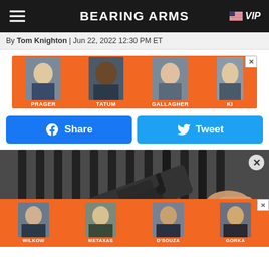BEARING ARMS — VIP
By Tom Knighton | Jun 22, 2022 12:30 PM ET
[Figure (photo): Advertisement banner with orange background showing faces of political commentators: Prager, Tatum, Gallagher, and one partially visible (Ki...) with close button]
[Figure (infographic): Facebook Share button and Twitter Tweet button in blue]
[Figure (photo): Close-up photo of a person holding an AR-style rifle lower receiver with gun rack in the background]
[Figure (photo): Advertisement banner with orange background showing faces of commentators: Wilkow, Metaxas, D'Souza, Gorka with close button]